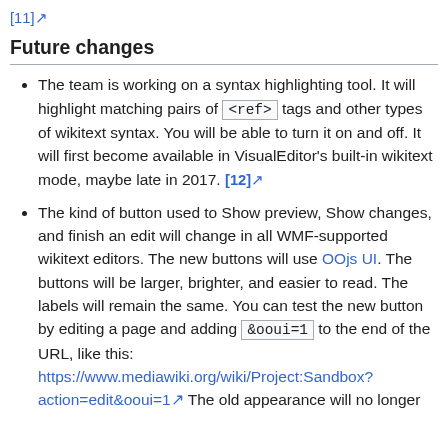[11] (link)
Future changes
The team is working on a syntax highlighting tool. It will highlight matching pairs of <ref> tags and other types of wikitext syntax. You will be able to turn it on and off. It will first become available in VisualEditor's built-in wikitext mode, maybe late in 2017. [12]
The kind of button used to Show preview, Show changes, and finish an edit will change in all WMF-supported wikitext editors. The new buttons will use OOjs UI. The buttons will be larger, brighter, and easier to read. The labels will remain the same. You can test the new button by editing a page and adding &ooui=1 to the end of the URL, like this: https://www.mediawiki.org/wiki/Project:Sandbox?action=edit&ooui=1 The old appearance will no longer